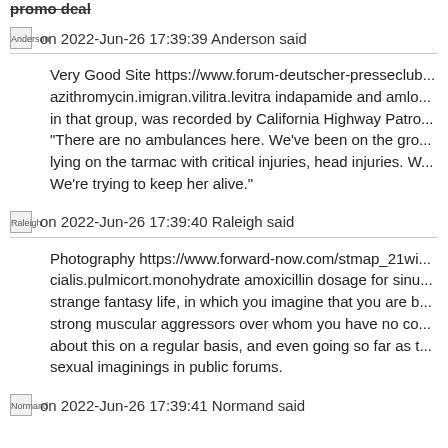promo deal
Anderson  on 2022-Jun-26 17:39:39 Anderson said
Very Good Site https://www.forum-deutscher-presseclub... azithromycin.imigran.vilitra.levitra indapamide and amlo... in that group, was recorded by California Highway Patro... "There are no ambulances here. We've been on the gro... lying on the tarmac with critical injuries, head injuries. W... We're trying to keep her alive."
Raleigh  on 2022-Jun-26 17:39:40 Raleigh said
Photography https://www.forward-now.com/stmap_21wi... cialis.pulmicort.monohydrate amoxicillin dosage for sinu... strange fantasy life, in which you imagine that you are b... strong muscular aggressors over whom you have no co... about this on a regular basis, and even going so far as t... sexual imaginings in public forums.
Normand  on 2022-Jun-26 17:39:41 Normand said